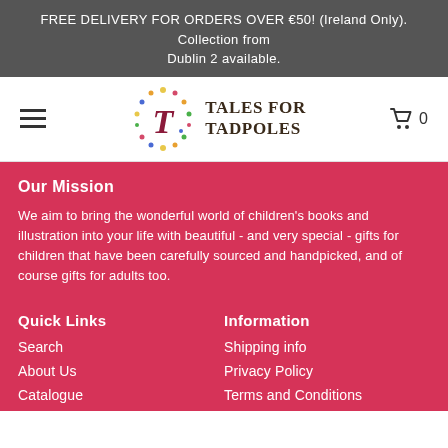FREE DELIVERY FOR ORDERS OVER €50! (Ireland Only). Collection from Dublin 2 available.
[Figure (logo): Tales for Tadpoles logo with decorative T in circle of colorful dots, serif wordmark]
Our Mission
We aim to bring the wonderful world of children's books and illustration into your life with beautiful - and very special - gifts for children that have been carefully sourced and handpicked, and of course gifts for adults too.
Quick Links
Information
Search
Shipping info
About Us
Privacy Policy
Catalogue
Terms and Conditions